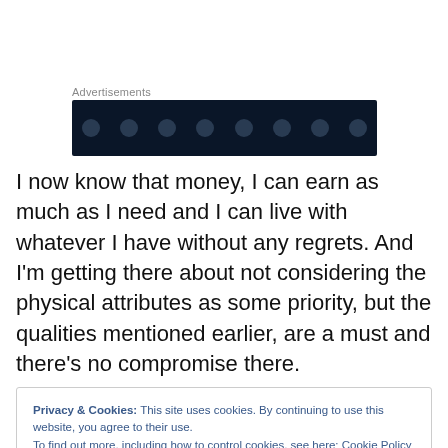Advertisements
[Figure (other): Dark navy advertisement banner with circular dot pattern]
I now know that money, I can earn as much as I need and I can live with whatever I have without any regrets. And I'm getting there about not considering the physical attributes as some priority, but the qualities mentioned earlier, are a must and there's no compromise there.
Privacy & Cookies: This site uses cookies. By continuing to use this website, you agree to their use.
To find out more, including how to control cookies, see here: Cookie Policy
Close and accept